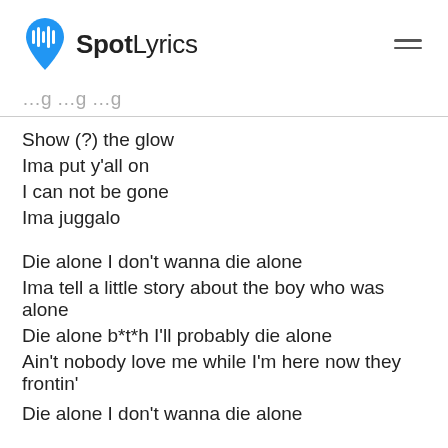SpotLyrics
… g … g … g
Show (?) the glow
Ima put y'all on
I can not be gone
Ima juggalo
Die alone I don't wanna die alone
Ima tell a little story about the boy who was alone
Die alone b*t*h I'll probably die alone
Ain't nobody love me while I'm here now they frontin'
Die alone I don't wanna die alone